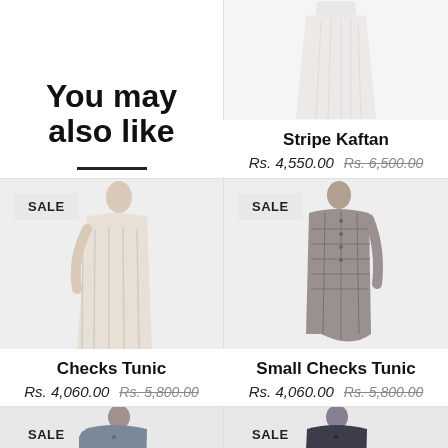You may also like
[Figure (photo): Product photo: Stripe Kaftan, white/cream pleated garment]
Stripe Kaftan
Rs. 4,550.00  Rs. 6,500.00
[Figure (photo): Product photo: Checks Tunic, light stripe long tunic with SALE badge]
[Figure (photo): Product photo: Small Checks Tunic, grey asymmetric tunic with SALE badge]
Checks Tunic
Rs. 4,060.00  Rs. 5,800.00
Small Checks Tunic
Rs. 4,060.00  Rs. 5,800.00
[Figure (photo): Product photo: dark grey/blue tunic, SALE badge, partial view]
[Figure (photo): Product photo: dark navy tunic with buttons, SALE badge, partial view]